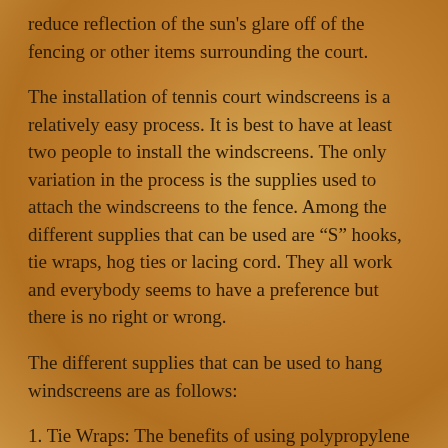reduce reflection of the sun's glare off of the fencing or other items surrounding the court.
The installation of tennis court windscreens is a relatively easy process. It is best to have at least two people to install the windscreens. The only variation in the process is the supplies used to attach the windscreens to the fence. Among the different supplies that can be used are “S” hooks, tie wraps, hog ties or lacing cord. They all work and everybody seems to have a preference but there is no right or wrong.
The different supplies that can be used to hang windscreens are as follows:
1. Tie Wraps: The benefits of using polypropylene tie wraps are that they are inexpensive and will break away during a storm with high winds. During a storm with